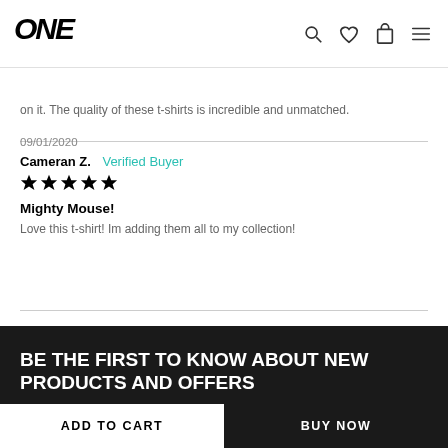ONE (logo) — navigation icons: search, wishlist, cart, menu
on it. The quality of these t-shirts is incredible and unmatched.
09/01/2020
Cameran Z.   Verified Buyer
★★★★★

Mighty Mouse!
Love this t-shirt! Im adding them all to my collection!
BE THE FIRST TO KNOW ABOUT NEW PRODUCTS AND OFFERS
Your Email Address
ADD TO CART
BUY NOW